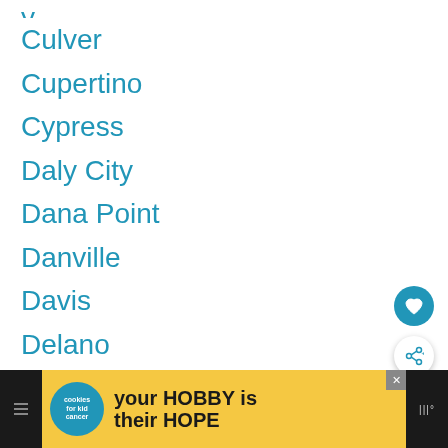Culver
Cupertino
Cypress
Daly City
Dana Point
Danville
Davis
Delano
Diamond Bar
Downey
Dublin
East Palo Alto
El Cajon